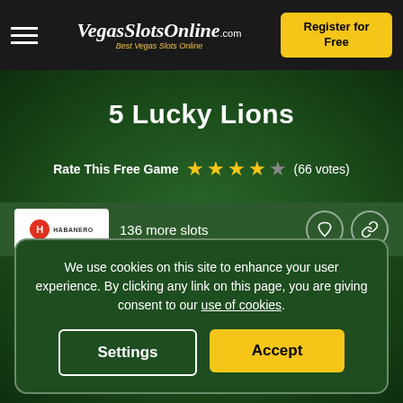VegasSlotsOnline.com - Best Vegas Slots Online | Register for Free
5 Lucky Lions
Rate This Free Game ★★★★☆ (66 votes)
136 more slots
We use cookies on this site to enhance your user experience. By clicking any link on this page, you are giving consent to our use of cookies.
Settings | Accept